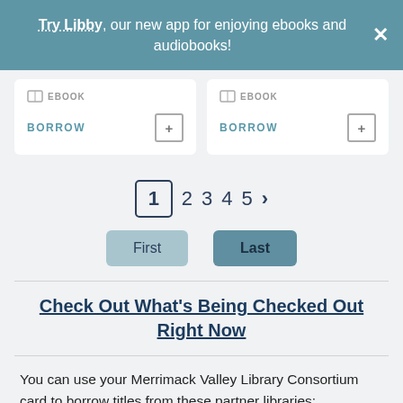Try Libby, our new app for enjoying ebooks and audiobooks!
EBOOK  BORROW
EBOOK  BORROW
1 2 3 4 5 >
First  Last
Check Out What's Being Checked Out Right Now
You can use your Merrimack Valley Library Consortium card to borrow titles from these partner libraries: